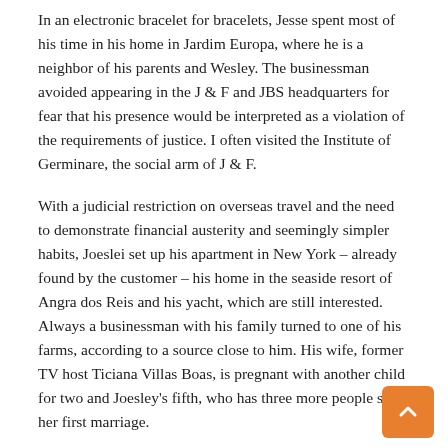In an electronic bracelet for bracelets, Jesse spent most of his time in his home in Jardim Europa, where he is a neighbor of his parents and Wesley. The businessman avoided appearing in the J & F and JBS headquarters for fear that his presence would be interpreted as a violation of the requirements of justice. I often visited the Institute of Germinare, the social arm of J & F.
With a judicial restriction on overseas travel and the need to demonstrate financial austerity and seemingly simpler habits, Joeslei set up his apartment in New York – already found by the customer – his home in the seaside resort of Angra dos Reis and his yacht, which are still interested. Always a businessman with his family turned to one of his farms, according to a source close to him. His wife, former TV host Ticiana Villas Boas, is pregnant with another child for two and Joesley's fifth, who has three more people since her first marriage.
Delacao. The businessman was constantly busy with the processes that arose due to his giving. Overall, in several countries, more than a hundred inquires have been opened from information about their rewarded cooperation. There were documents for collection and testimony. Since March, when he left the prison, in several cities there